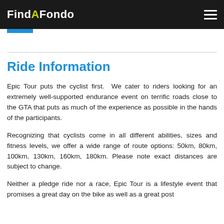FindAFondo
Ride Information
Epic Tour puts the cyclist first. We cater to riders looking for an extremely well-supported endurance event on terrific roads close to the GTA that puts as much of the experience as possible in the hands of the participants.
Recognizing that cyclists come in all different abilities, sizes and fitness levels, we offer a wide range of route options: 50km, 80km, 100km, 130km, 160km, 180km. Please note exact distances are subject to change.
Neither a pledge ride nor a race, Epic Tour is a lifestyle event that promises a great day on the bike as well as a great post